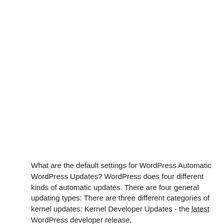What are the default settings for WordPress Automatic WordPress Updates? WordPress does four different kinds of automatic updates. There are four general updating types: There are three different categories of kernel updates: Kernel Developer Updates - the latest WordPress developer release,